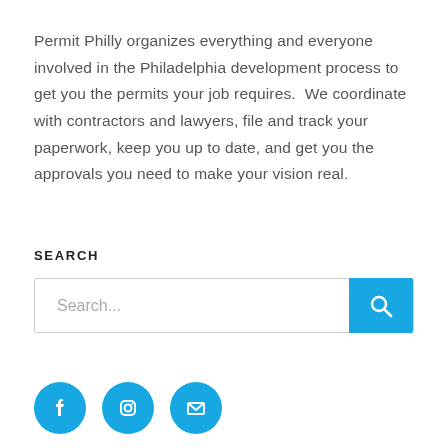Permit Philly organizes everything and everyone involved in the Philadelphia development process to get you the permits your job requires.  We coordinate with contractors and lawyers, file and track your paperwork, keep you up to date, and get you the approvals you need to make your vision real.
SEARCH
[Figure (screenshot): Search input box with placeholder text 'Search...' and a blue search button with a magnifying glass icon on the right]
[Figure (infographic): Three blue circular social media icons: Facebook, Instagram, and Email/envelope]